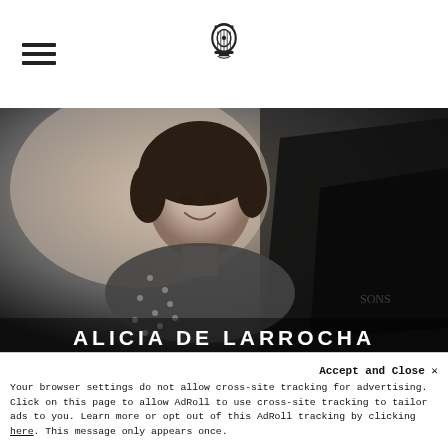Navigation header with hamburger menu and lyre logo
[Figure (photo): Black and white photograph of Alicia de Larrocha seated at a grand piano, smiling and looking toward the camera, wearing a polka-dot sleeveless dress. Text overlay at bottom reads ALICIA DE LARROCHA.]
Accept and Close ✕
Your browser settings do not allow cross-site tracking for advertising. Click on this page to allow AdRoll to use cross-site tracking to tailor ads to you. Learn more or opt out of this AdRoll tracking by clicking here. This message only appears once.